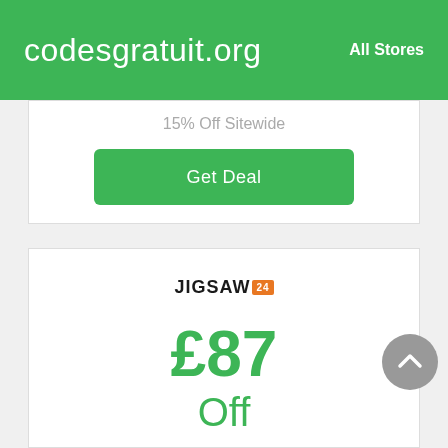codesgratuit.org   All Stores
15% Off Sitewide
Get Deal
[Figure (logo): JIGSAW24 logo with orange badge for '24']
£87
Off